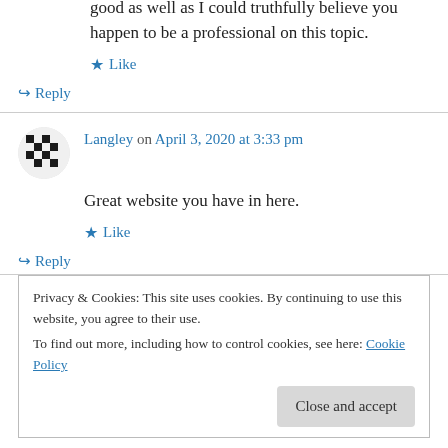good as well as I could truthfully believe you happen to be a professional on this topic.
★ Like
↪ Reply
Langley on April 3, 2020 at 3:33 pm
Great website you have in here.
★ Like
↪ Reply
Privacy & Cookies: This site uses cookies. By continuing to use this website, you agree to their use.
To find out more, including how to control cookies, see here: Cookie Policy
Close and accept
the video to make the position. You definitely